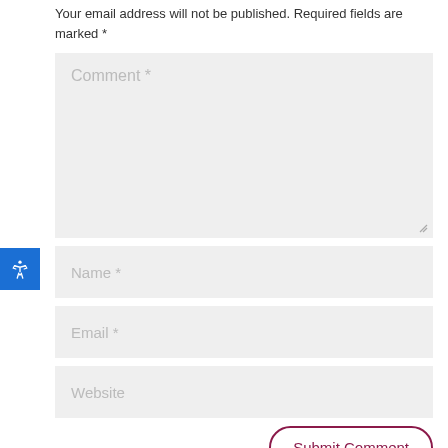Your email address will not be published. Required fields are marked *
[Figure (screenshot): Comment form with textarea labeled 'Comment *', input fields for 'Name *', 'Email *', 'Website', an accessibility button (blue, person icon) on the left side, and a 'Submit Comment' button at bottom right with rounded border in dark pink/maroon color.]